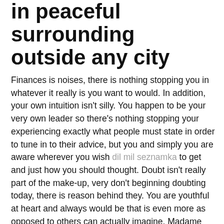in peaceful surrounding outside any city
Finances is noises, there is nothing stopping you in whatever it really is you want to would. In addition, your own intuition isn't silly. You happen to be your very own leader so there's nothing stopping your experiencing exactly what people must state in order to tune in to their advice, but you and simply you are aware wherever you wish dil mil seznamka to get and just how you should thought. Doubt isn't really part of the make-up, very don't beginning doubting today, there is reason behind they. You are youthful at heart and always would be that is even more as opposed to others can actually imagine. Madame Oda Mae Brown, no-cost your self from other individuals' hesitations and burdens, they may not be yours to grab. You will want energy for yourself so that brand new options come your way and appear they're going to. Encompass yourself with nature, feel a huge